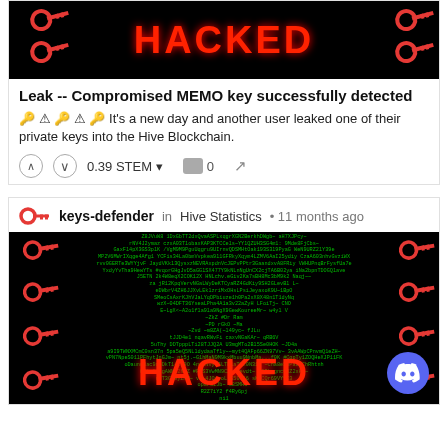[Figure (illustration): Black banner image with red key icons and bold red HACKED text]
Leak -- Compromised MEMO key successfully detected
🔑 ⚠ 🔑 ⚠ 🔑 It's a new day and another user leaked one of their private keys into the Hive Blockchain.
0.39 STEM  0
keys-defender in Hive Statistics • 11 months ago
[Figure (illustration): Black banner image with red key icons, green matrix-style code text, bold red HACKED text at bottom, and Discord button]